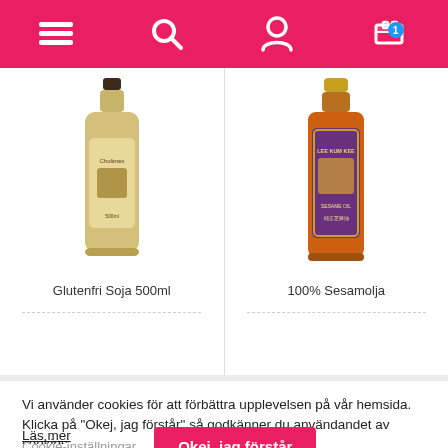[Figure (screenshot): Pink/magenta navigation header bar with hamburger menu icon, search icon, user profile icon, and shopping cart icon with badge showing '1']
[Figure (photo): Bottle of Glutenfri Soja 500ml product]
Glutenfri Soja 500ml
[Figure (photo): Bottle of 100% Sesamolja product]
100% Sesamolja
Vi använder cookies för att förbättra upplevelsen på vår hemsida. Klicka på “Okej, jag förstår” så godkänner du användandet av cookies.
Läs mer
Cookie-inställningar
Okej, jag förstår